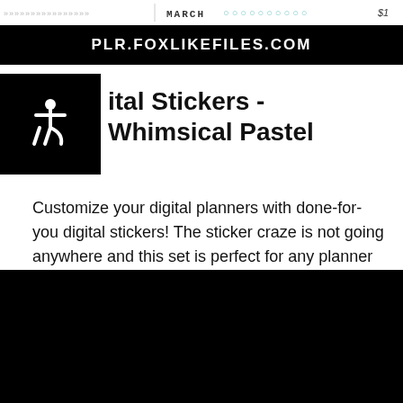PLR.FOXLIKEFILES.COM
Digital Stickers - Whimsical Pastel
Customize your digital planners with done-for-you digital stickers! The sticker craze is not going anywhere and this set is perfect for any planner addict.
Check it out